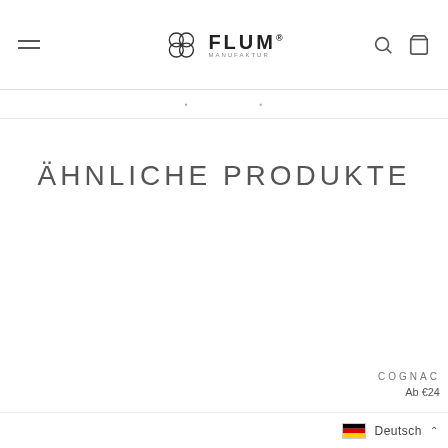FLUM Manufaktur — Navigation header with hamburger menu, logo, search and cart icons
navigation strip (partially visible)
ÄHNLICHE PRODUKTE
COGNAC
Ab €24
Deutsch